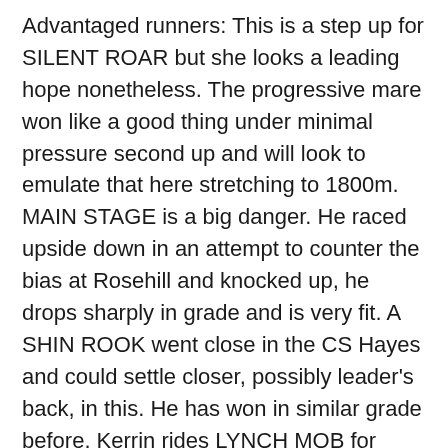Advantaged runners: This is a step up for SILENT ROAR but she looks a leading hope nonetheless. The progressive mare won like a good thing under minimal pressure second up and will look to emulate that here stretching to 1800m. MAIN STAGE is a big danger. He raced upside down in an attempt to counter the bias at Rosehill and knocked up, he drops sharply in grade and is very fit. A SHIN ROOK went close in the CS Hayes and could settle closer, possibly leader's back, in this. He has won in similar grade before. Kerrin rides LYNCH MOB for UnIcle Tony, his picket fence was only broken by a live Oaks contender, so has real claims. He's the one if they're making ground from the back.